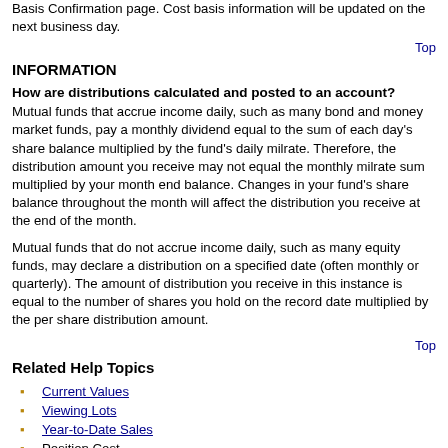Basis Confirmation page. Cost basis information will be updated on the next business day.
Top
INFORMATION
How are distributions calculated and posted to an account? Mutual funds that accrue income daily, such as many bond and money market funds, pay a monthly dividend equal to the sum of each day's share balance multiplied by the fund's daily milrate. Therefore, the distribution amount you receive may not equal the monthly milrate sum multiplied by your month end balance. Changes in your fund's share balance throughout the month will affect the distribution you receive at the end of the month.
Mutual funds that do not accrue income daily, such as many equity funds, may declare a distribution on a specified date (often monthly or quarterly). The amount of distribution you receive in this instance is equal to the number of shares you hold on the record date multiplied by the per share distribution amount.
Top
Related Help Topics
Current Values
Viewing Lots
Year-to-Date Sales
Position Cost